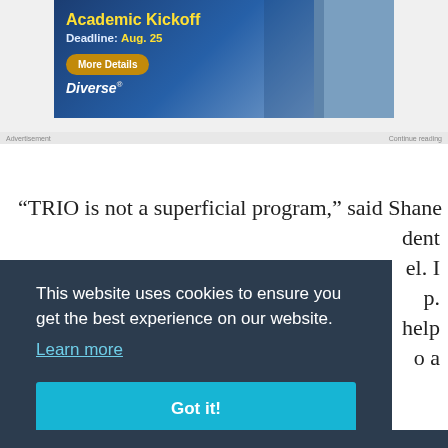[Figure (illustration): Advertisement banner for 'Academic Kickoff' with deadline Aug. 25, featuring a 'More Details' button and Diverse magazine branding. Shows a student holding books. Text also reads 'No Covid Restrictions?']
“TRIO is not a superficial program,” said Shane [partially obscured] dent [partially obscured] el. I [partially obscured] p. [partially obscured] help [partially obscured] o a
This website uses cookies to ensure you get the best experience on our website. Learn more Got it!